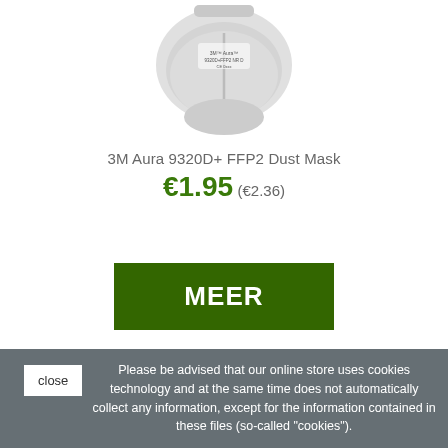[Figure (photo): Product image of a 3M Aura 9320D+ FFP2 dust mask, partially cropped at top]
3M Aura 9320D+ FFP2 Dust Mask
€1.95 (€2.36)
MEER
Please be advised that our online store uses cookies technology and at the same time does not automatically collect any information, except for the information contained in these files (so-called "cookies").
close